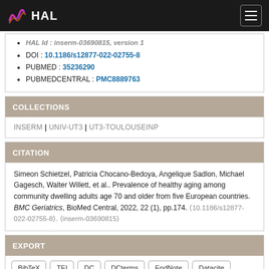HAL
HAL Id : inserm-03690815, version 1
DOI : 10.1186/s12877-022-02755-8
PUBMED : 35236290
PUBMEDCENTRAL : PMC8889763
COLLECTIONS
INSERM | UNIV-UT3 | UT3-TOULOUSEINP
CITATION
Simeon Schietzel, Patricia Chocano-Bedoya, Angelique Sadlon, Michael Gagesch, Walter Willett, et al.. Prevalence of healthy aging among community dwelling adults age 70 and older from five European countries. BMC Geriatrics, BioMed Central, 2022, 22 (1), pp.174. (10.1186/s12877-022-02755-8). (inserm-03690815)
EXPORT
BibTeX | TEI | DC | DCterms | EndNote | Datacite